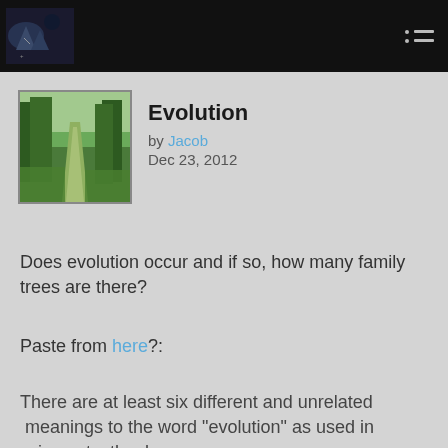Evolution by Jacob Dec 23, 2012
[Figure (photo): Forest path thumbnail image]
Evolution
by Jacob
Dec 23, 2012
Does evolution occur and if so, how many family trees are there?
Paste from here?:
There are at least six different and unrelated  meanings to the word "evolution" as used in science textbooks.